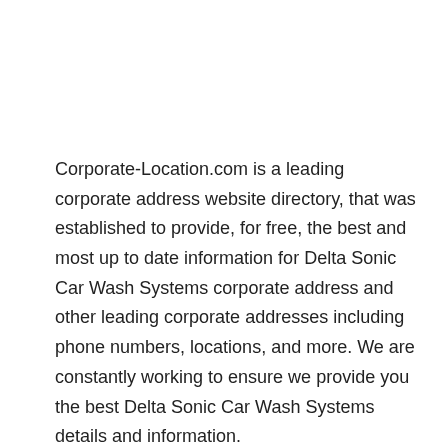Corporate-Location.com is a leading corporate address website directory, that was established to provide, for free, the best and most up to date information for Delta Sonic Car Wash Systems corporate address and other leading corporate addresses including phone numbers, locations, and more. We are constantly working to ensure we provide you the best Delta Sonic Car Wash Systems details and information.